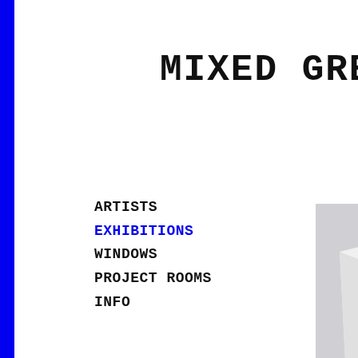MIXED GREE
ARTISTS
EXHIBITIONS
WINDOWS
PROJECT ROOMS
INFO
[Figure (photo): A pencil drawing of a moose head with large antlers, displayed on a white canvas leaning against a gallery wall. The drawing is detailed and realistic, showing the moose in profile facing right. The photo is taken at an angle showing the gallery setting.]